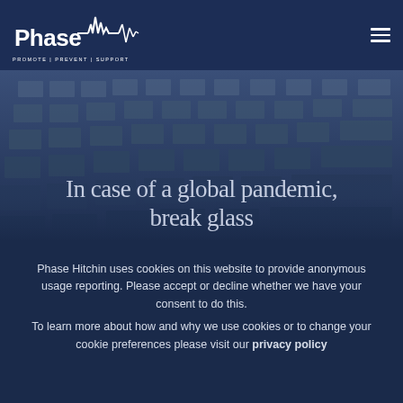Phase — PROMOTE | PREVENT | SUPPORT
[Figure (photo): Overhead view of rows of empty classroom desks/tables arranged in a large hall, blue-tinted photo]
In case of a global pandemic, break glass
Phase Hitchin uses cookies on this website to provide anonymous usage reporting. Please accept or decline whether we have your consent to do this.
To learn more about how and why we use cookies or to change your cookie preferences please visit our privacy policy